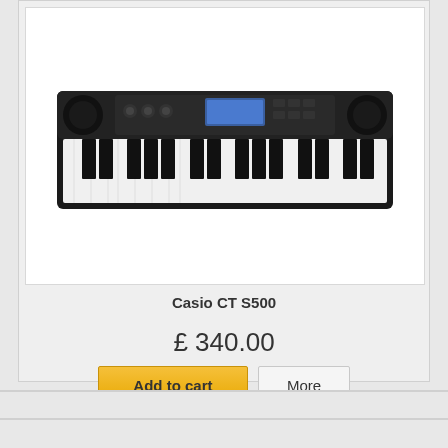[Figure (photo): Casio CT S500 electronic keyboard synthesizer, black with white and black keys, displayed on white background]
Casio CT S500
£ 340.00
Add to cart
More